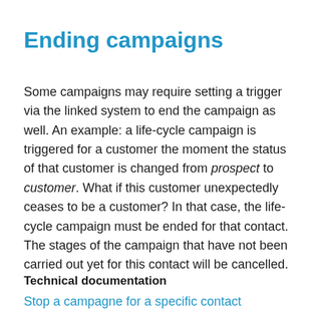Ending campaigns
Some campaigns may require setting a trigger via the linked system to end the campaign as well. An example: a life-cycle campaign is triggered for a customer the moment the status of that customer is changed from prospect to customer. What if this customer unexpectedly ceases to be a customer? In that case, the life-cycle campaign must be ended for that contact. The stages of the campaign that have not been carried out yet for this contact will be cancelled.
Technical documentation
Stop a campagne for a specific contact